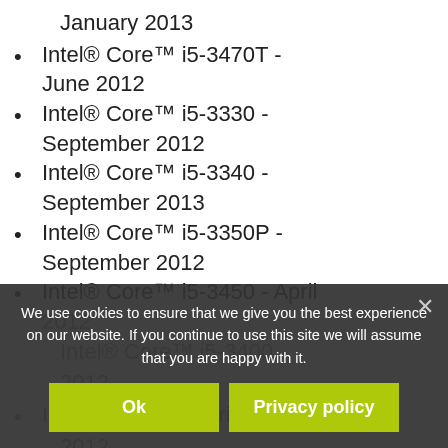January 2013
Intel® Core™ i5-3470T - June 2012
Intel® Core™ i5-3330 - September 2012
Intel® Core™ i5-3340 - September 2013
Intel® Core™ i5-3350P - September 2012
Intel® Core™ i5-3450 - April 2012
We use cookies to ensure that we give you the best experience on our website. If you continue to use this site we will assume that you are happy with it.